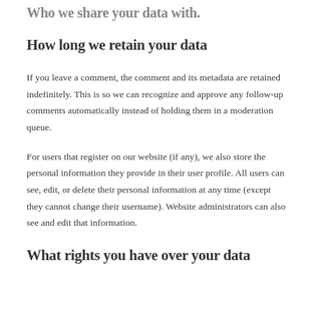Who we share your data with.
How long we retain your data
If you leave a comment, the comment and its metadata are retained indefinitely. This is so we can recognize and approve any follow-up comments automatically instead of holding them in a moderation queue.
For users that register on our website (if any), we also store the personal information they provide in their user profile. All users can see, edit, or delete their personal information at any time (except they cannot change their username). Website administrators can also see and edit that information.
What rights you have over your data